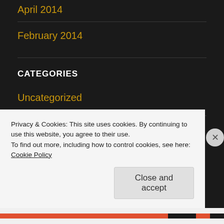April 2014
February 2014
CATEGORIES
Uncategorized
META
Privacy & Cookies: This site uses cookies. By continuing to use this website, you agree to their use.
To find out more, including how to control cookies, see here: Cookie Policy
Close and accept